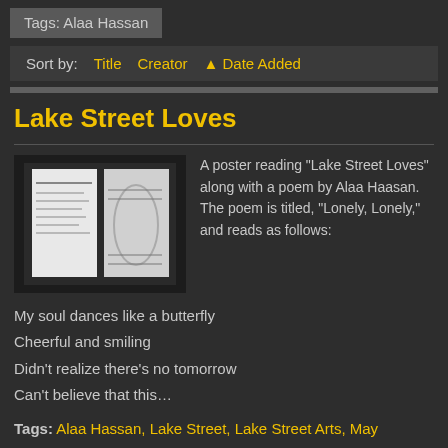Tags: Alaa Hassan
Sort by:  Title  Creator  ▲ Date Added
Lake Street Loves
[Figure (photo): A small photo of a poster in a window, showing a poem on a white sheet with text visible.]
A poster reading "Lake Street Loves" along with a poem by Alaa Haasan. The poem is titled, "Lonely, Lonely," and reads as follows:
My soul dances like a butterfly
Cheerful and smiling
Didn't realize there's no tomorrow
Can't believe that this…
Tags: Alaa Hassan, Lake Street, Lake Street Arts, May